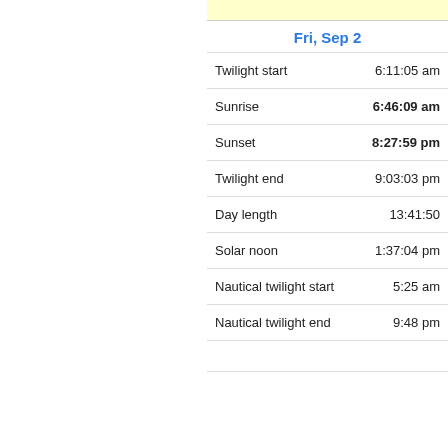|  |  |
| --- | --- |
| Fri, Sep 2 |  |
| Twilight start | 6:11:05 am |
| Sunrise | 6:46:09 am |
| Sunset | 8:27:59 pm |
| Twilight end | 9:03:03 pm |
| Day length | 13:41:50 |
| Solar noon | 1:37:04 pm |
| Nautical twilight start | 5:25 am |
| Nautical twilight end | 9:48 pm |